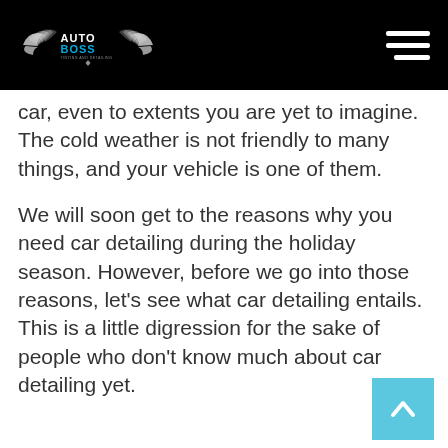AUTO BOSS — Tinting and Detailing
car, even to extents you are yet to imagine. The cold weather is not friendly to many things, and your vehicle is one of them.
We will soon get to the reasons why you need car detailing during the holiday season. However, before we go into those reasons, let's see what car detailing entails. This is a little digression for the sake of people who don't know much about car detailing yet.
What is C…